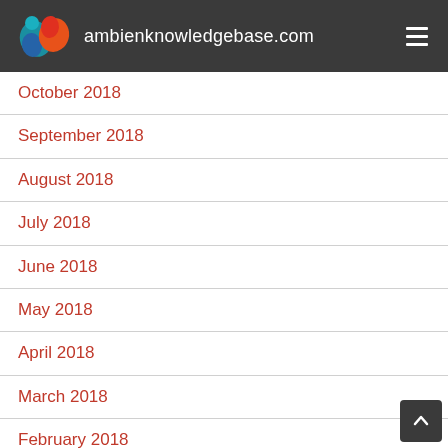ambienknowledgebase.com
October 2018
September 2018
August 2018
July 2018
June 2018
May 2018
April 2018
March 2018
February 2018
January 2018
December 2017